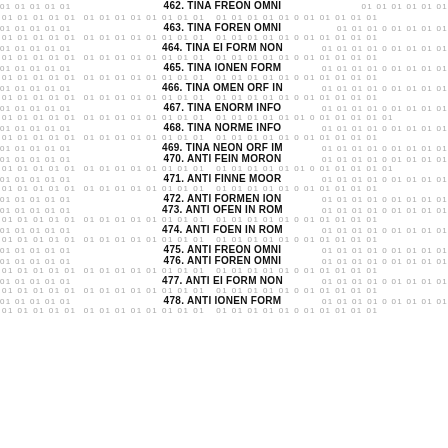462. TINA FREON OMNI
463. TINA FOREN OMNI
464. TINA EI FORM NON
465. TINA IONEN FORM
466. TINA OMEN ORF IN
467. TINA ENORM INFO
468. TINA NORME INFO
469. TINA NEON ORF IM
470. ANTI FEIN MORON
471. ANTI FINNE MOOR
472. ANTI FORMEN ION
473. ANTI OFEN IN ROM
474. ANTI FOEN IN ROM
475. ANTI FREON OMNI
476. ANTI FOREN OMNI
477. ANTI EI FORM NON
478. ANTI IONEN FORM